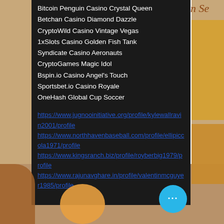Bitcoin Penguin Casino Crystal Queen
Betchan Casino Diamond Dazzle
CryptoWild Casino Vintage Vegas
1xSlots Casino Golden Fish Tank
Syndicate Casino Aeronauts
CryptoGames Magic Idol
Bspin.io Casino Angel's Touch
Sportsbet.io Casino Royale
OneHash Global Cup Soccer
https://www.jugnooinitiative.org/profile/kylewallravin2001/profile
https://www.northhavenbaseball.com/profile/ellipiccola1971/profile
https://www.kingsranch.biz/profile/royberbig1979/profile
https://www.rajunavghare.in/profile/valentinmcguyer1985/profile